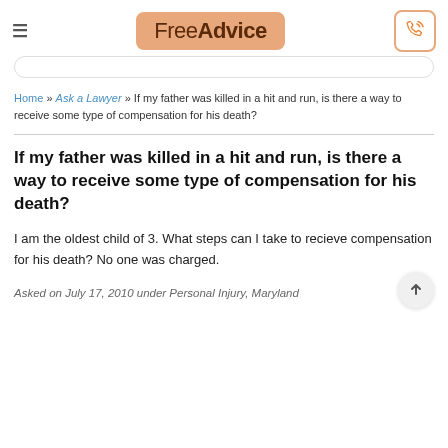FreeAdvice
Home » Ask a Lawyer » If my father was killed in a hit and run, is there a way to receive some type of compensation for his death?
If my father was killed in a hit and run, is there a way to receive some type of compensation for his death?
I am the oldest child of 3. What steps can I take to recieve compensation for his death? No one was charged.
Asked on July 17, 2010 under Personal Injury, Maryland